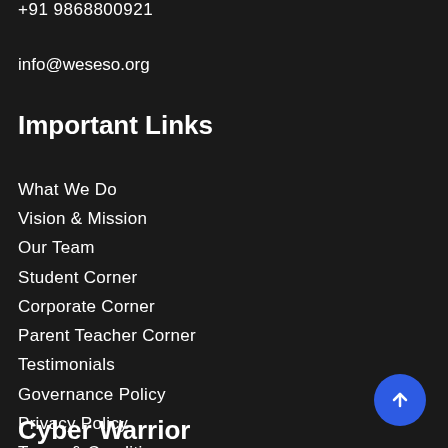+91 9868800921
info@weseso.org
Important Links
What We Do
Vision & Mission
Our Team
Student Corner
Corporate Corner
Parent Teacher Corner
Testimonials
Governance Policy
Privacy Policy
Terms & Conditions
Cyber Warrior